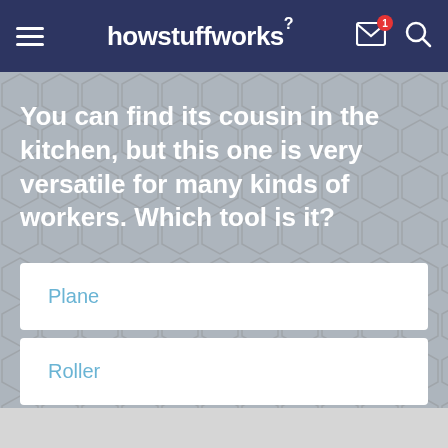howstuffworks
You can find its cousin in the kitchen, but this one is very versatile for many kinds of workers. Which tool is it?
Plane
Roller